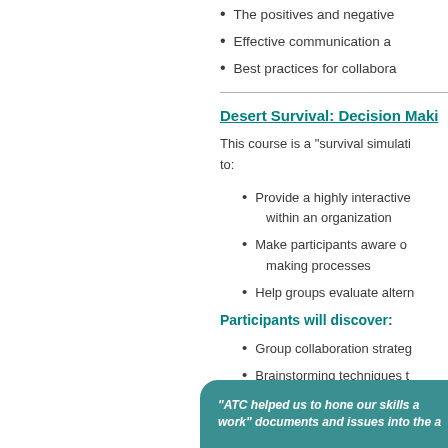The positives and negative
Effective communication a
Best practices for collabora
Desert Survival: Decision Maki
This course is a “survival simulati to:
Provide a highly interactive within an organization
Make participants aware of making processes
Help groups evaluate altern
Participants will discover:
Group collaboration strateg
Brainstorming techniques t
Decision-making processe
Problem solving to address
“ATC helped us to hone our skills a work” documents and issues into the a